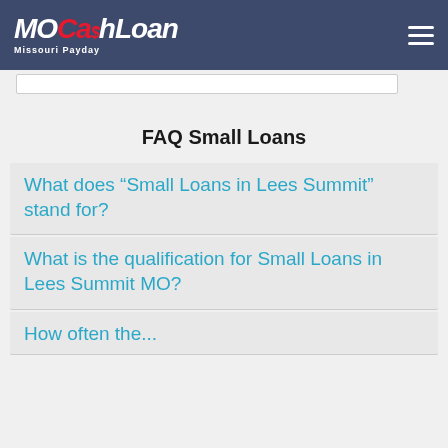MOCa$hLoan Missouri Payday
FAQ Small Loans
What does “Small Loans in Lees Summit” stand for?
What is the qualification for Small Loans in Lees Summit MO?
How often the...